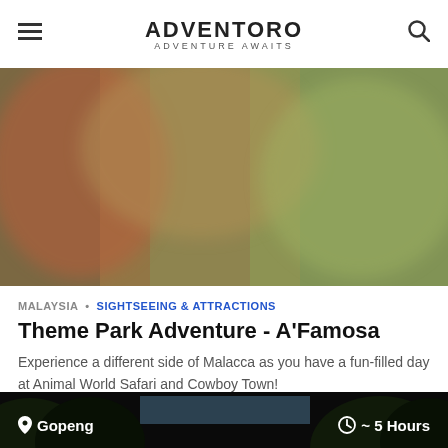ADVENTORO ADVENTURE AWAITS
[Figure (photo): Blurred outdoor theme park or nature scene with colorful foliage]
MALAYSIA • SIGHTSEEING & ATTRACTIONS
Theme Park Adventure - A'Famosa
Experience a different side of Malacca as you have a fun-filled day at Animal World Safari and Cowboy Town!
USD 176 • Per Person
0 Reviews
[Figure (photo): Dark nature scene with trees and sky visible at bottom of page]
Gopeng  ~ 5 Hours